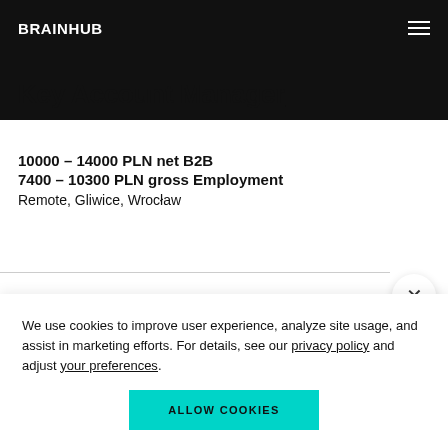BRAINHUB
Key Account Manager
10000 – 14000 PLN net B2B
7400 – 10300 PLN gross Employment
Remote, Gliwice, Wrocław
We use cookies to improve user experience, analyze site usage, and assist in marketing efforts. For details, see our privacy policy and adjust your preferences.
ALLOW COOKIES